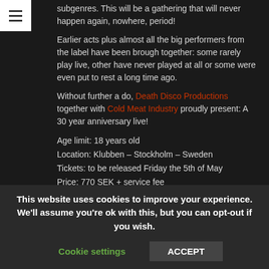[Figure (other): Hamburger menu button icon (three horizontal lines on white background)]
subgenres. This will be a gathering that will never happen again, nowhere, period!
Earlier acts plus almost all the big performers from the label have been brough together: some rarely play live, other have never played at all or some were even put to rest a long time ago.
Without further a do, Death Disco Productions together with Cold Meat Industry proudly present: A 30 year anniversary live!
Age limit: 18 years old
Location: Klubben – Stockholm – Sweden
Tickets: to be released Friday the 5th of May
Price: 770 SEK + service fee
Nearest hotels: Motel L (100 m away from the venue), Park Inn by Radisson Stockholm Hammarby Sjöstad (1.1 km away)
This website uses cookies to improve your experience. We'll assume you're ok with this, but you can opt-out if you wish.
Cookie settings    ACCEPT